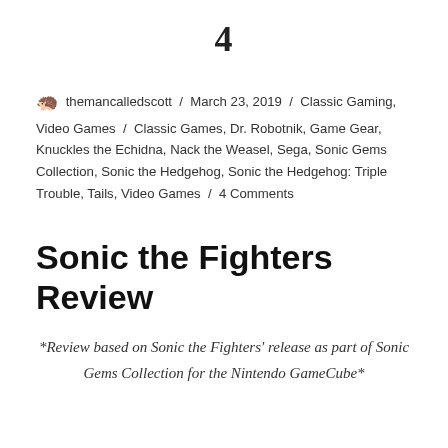4
🦔 themancalledscott / March 23, 2019 / Classic Gaming, Video Games / Classic Games, Dr. Robotnik, Game Gear, Knuckles the Echidna, Nack the Weasel, Sega, Sonic Gems Collection, Sonic the Hedgehog, Sonic the Hedgehog: Triple Trouble, Tails, Video Games / 4 Comments
Sonic the Fighters Review
*Review based on Sonic the Fighters' release as part of Sonic Gems Collection for the Nintendo GameCube*